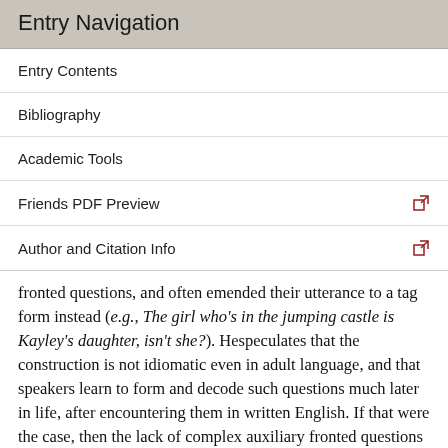Entry Navigation
Entry Contents
Bibliography
Academic Tools
Friends PDF Preview
Author and Citation Info
fronted questions, and often emended their utterance to a tag form instead (e.g., The girl who's in the jumping castle is Kayley's daughter, isn't she?). Hespeculates that the construction is not idiomatic even in adult language, and that speakers learn to form and decode such questions much later in life, after encountering them in written English. If that were the case, then the lack of complex auxiliary fronted questions in the pld would be both unsurprising and unproblematic: young children don't hear the sentences, but nor do they learn the rule. To my knowledge, children's competence with the auxiliary